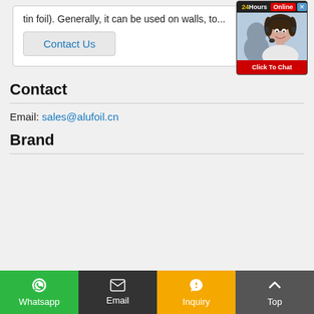tin foil). Generally, it can be used on walls, to...
Contact Us
[Figure (photo): 24Hours Online chat widget with a smiling female customer service representative wearing a headset, with a 'Click To Chat' red button at the bottom]
Contact
Email: sales@alufoil.cn
Brand
Whatsapp | Email | Inquiry | Top